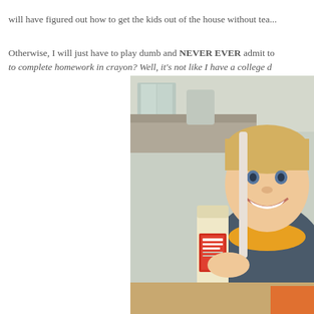will have figured out how to get the kids out of the house without tea...
Otherwise, I will just have to play dumb and NEVER EVER admit to complete homework in crayon? Well, it's not like I have a college d...
[Figure (photo): A young smiling blonde child sitting at a kitchen table holding a bottle of Mod Podge glue, with a kitchen visible in the background.]